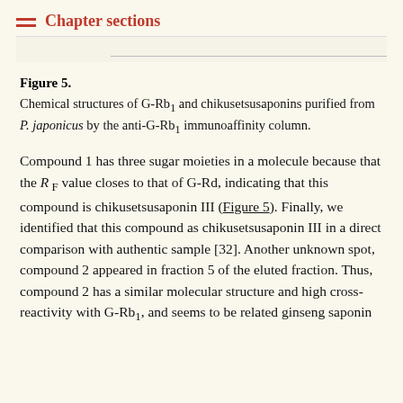Chapter sections
Figure 5.
Chemical structures of G-Rb1 and chikusetsusaponins purified from P. japonicus by the anti-G-Rb1 immunoaffinity column.
Compound 1 has three sugar moieties in a molecule because that the R F value closes to that of G-Rd, indicating that this compound is chikusetsusaponin III (Figure 5). Finally, we identified that this compound as chikusetsusaponin III in a direct comparison with authentic sample [32]. Another unknown spot, compound 2 appeared in fraction 5 of the eluted fraction. Thus, compound 2 has a similar molecular structure and high cross-reactivity with G-Rb1, and seems to be related ginseng saponin